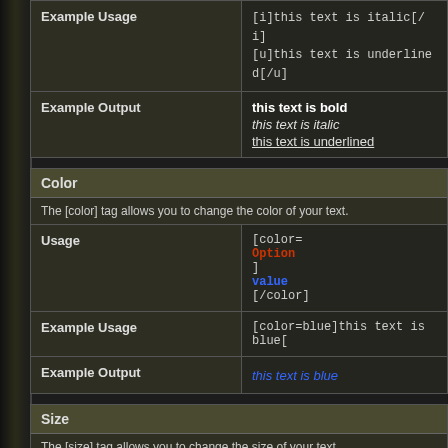| Example Usage | (partial - bold/italic/underline codes) |
| --- | --- |
| Example Usage | [b]this text is bold[/b]
[i]this text is italic[/i]
[u]this text is underlined[/u] |
| Example Output | this text is bold / this text is italic / this text is underlined |
Color
The [color] tag allows you to change the color of your text.
|  |  |
| --- | --- |
| Usage | [color=Option]value[/color] |
| Example Usage | [color=blue]this text is blue[... |
| Example Output | this text is blue |
Size
The [size] tag allows you to change the size of your text.
|  |  |
| --- | --- |
| Usage | [size=Option]value[/size] |
| Example Usage | [size=+2]this text is two size... |
| Example Output | this text is two s... |